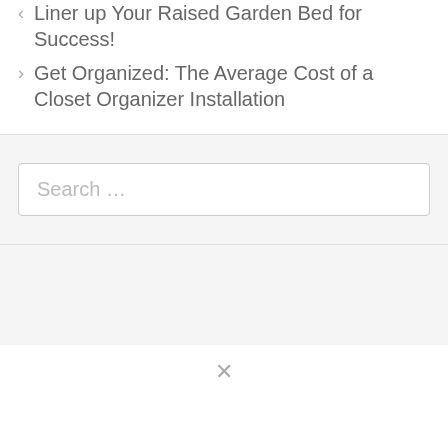‹ Liner up Your Raised Garden Bed for Success!
› Get Organized: The Average Cost of a Closet Organizer Installation
Search …